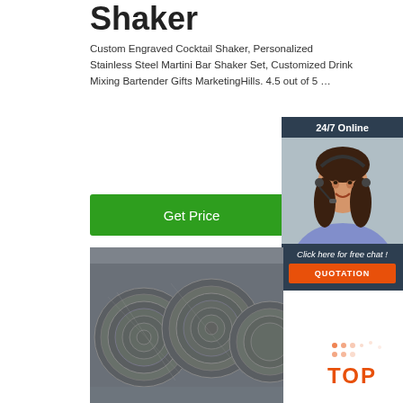Shaker
Custom Engraved Cocktail Shaker, Personalized Stainless Steel Martini Bar Shaker Set, Customized Drink Mixing Bartender Gifts MarketingHills. 4.5 out of 5 …
[Figure (other): Green 'Get Price' button]
[Figure (other): 24/7 Online chat widget with woman in headset, 'Click here for free chat!' text, and orange QUOTATION button]
[Figure (photo): Large coils of steel wire rod stored in a warehouse]
[Figure (logo): Orange TOP badge/logo in bottom right corner]